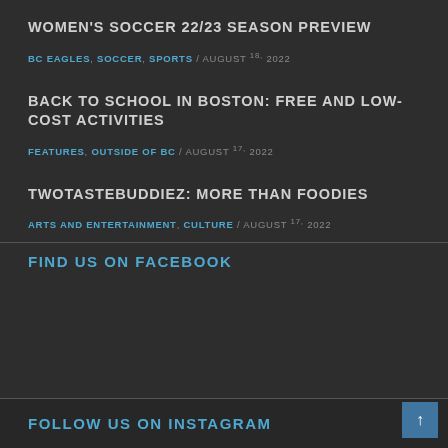WOMEN'S SOCCER 22/23 SEASON PREVIEW
BC EAGLES, SOCCER, SPORTS / AUGUST 18, 2022
BACK TO SCHOOL IN BOSTON: FREE AND LOW-COST ACTIVITIES
FEATURES, OUTSIDE OF BC / AUGUST 17, 2022
TWOTASTEBUDDIEZ: MORE THAN FOODIES
ARTS AND ENTERTAINMENT, CULTURE / AUGUST 17, 2022
FIND US ON FACEBOOK
FOLLOW US ON INSTAGRAM